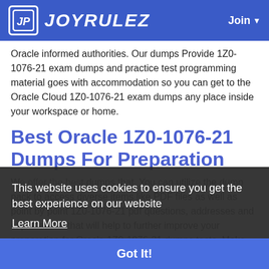JOYRULEZ
Oracle informed authorities. Our dumps Provide 1Z0-1076-21 exam dumps and practice test programming material goes with accommodation so you can get to the Oracle Cloud 1Z0-1076-21 exam dumps any place inside your workspace or home.
Best Oracle 1Z0-1076-21 Dumps For Preparation
This website uses cookies to ensure you get the best experience on our website
Learn More
Got It!